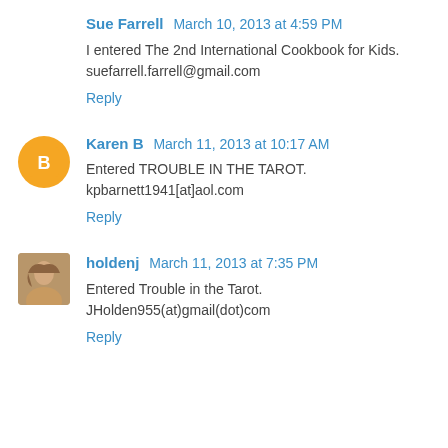Sue Farrell  March 10, 2013 at 4:59 PM
I entered The 2nd International Cookbook for Kids.
suefarrell.farrell@gmail.com
Reply
Karen B  March 11, 2013 at 10:17 AM
Entered TROUBLE IN THE TAROT.
kpbarnett1941[at]aol.com
Reply
holdenj  March 11, 2013 at 7:35 PM
Entered Trouble in the Tarot.
JHolden955(at)gmail(dot)com
Reply